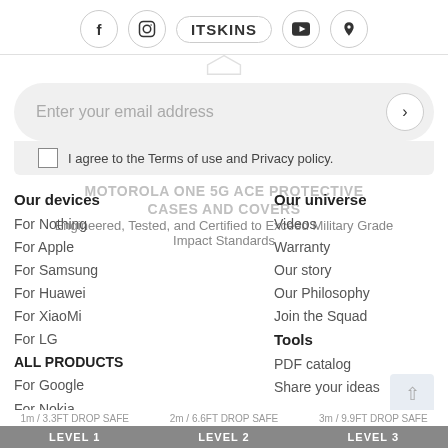f  [instagram]  ITSKINS  [youtube]  p
Enter your email address
I agree to the Terms of use and Privacy policy.
MOTOROLA ONE 5G ACE PROTECTIVE CASES AND COVERS
Engineered, Tested, and Certified to Exceed Military Grade Impact Standards
Our devices
For Nothing
For Apple
For Samsung
For Huawei
For XiaoMi
For LG
For Google
For Nokia
For OPPO
ALL PRODUCTS
Our universe
Videos
Warranty
Our story
Our Philosophy
Join the Squad
Tools
PDF catalog
Share your ideas
LEVEL 1  1m / 3.3FT DROP SAFE    LEVEL 2  2m / 6.6FT DROP SAFE    LEVEL 3  3m / 9.9FT DROP SAFE